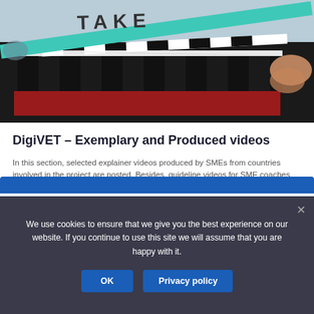[Figure (photo): A film clapperboard being held open, with black and white stripes and a red section visible, with a person's hands and a teal-colored clapper slate arm]
DigiVET – Exemplary and Produced videos
In this section, selected explainer videos produced by SMEs from countries involved in the project are posted. Besides, guideline videos for SME coaches and trainers are available too that were created by the national project teams. The materials available here were produced by national teams as a part of the Erasmus+ project DigiVET and are available to anyone without registration. Check also the project's YouTube channel.
We use cookies to ensure that we give you the best experience on our website. If you continue to use this site we will assume that you are happy with it.